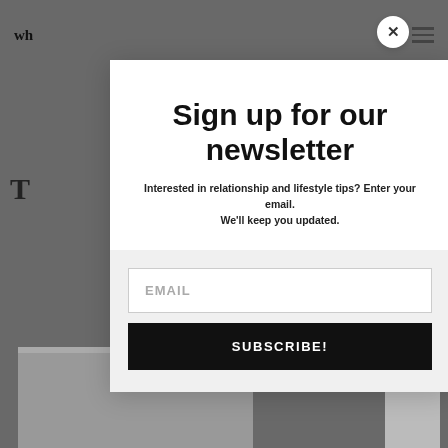[Figure (screenshot): Website background with blurred/darkened overlay, showing partial navigation header with logo text 'wh...' on left and hamburger menu lines on right, plus partial article image at bottom.]
Sign up for our newsletter
Interested in relationship and lifestyle tips? Enter your email. We'll keep you updated.
EMAIL
SUBSCRIBE!